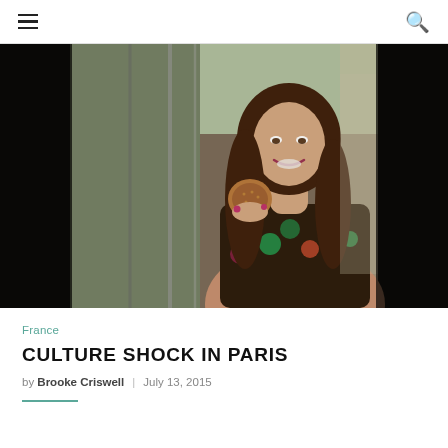Navigation header with hamburger menu and search icon
[Figure (photo): A smiling young woman with long brown hair holding a round pastry or cookie, standing in front of a glass storefront in Paris. She is wearing a colorful floral dress. The background shows reflections of the city street.]
France
CULTURE SHOCK IN PARIS
by Brooke Criswell | July 13, 2015